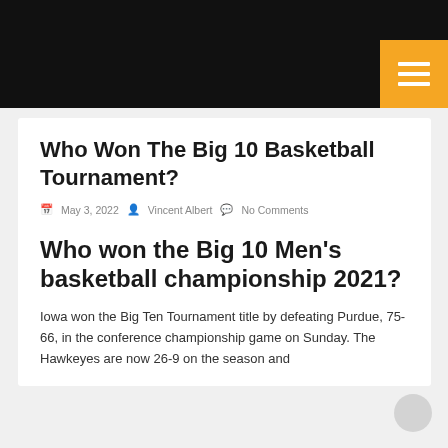Who Won The Big 10 Basketball Tournament?
May 3, 2022   Vincent Albert   No Comments
Who won the Big 10 Men's basketball championship 2021?
Iowa won the Big Ten Tournament title by defeating Purdue, 75-66, in the conference championship game on Sunday. The Hawkeyes are now 26-9 on the season and